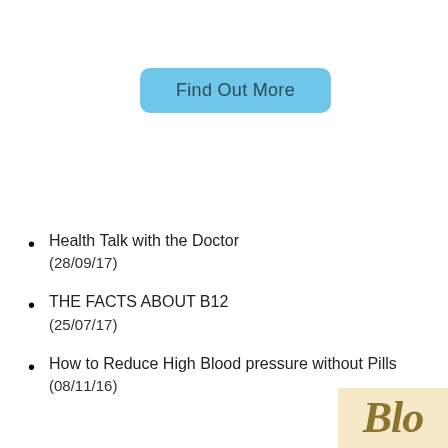[Figure (other): Light blue rounded button labeled 'Find Out More']
Health Talk with the Doctor (28/09/17)
THE FACTS ABOUT B12 (25/07/17)
How to Reduce High Blood pressure without Pills (08/11/16)
[Figure (illustration): Partial text in italic serif font visible at bottom-right corner, appears to be decorative blog/branding text in gold color on cream background]